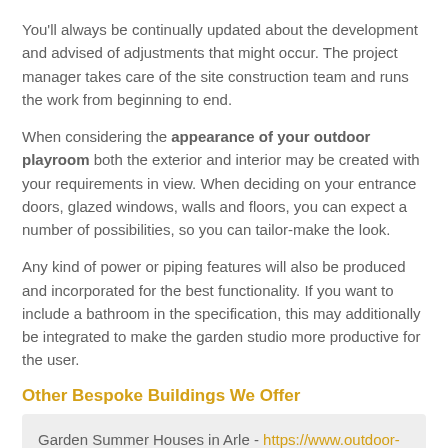You'll always be continually updated about the development and advised of adjustments that might occur. The project manager takes care of the site construction team and runs the work from beginning to end.
When considering the appearance of your outdoor playroom both the exterior and interior may be created with your requirements in view. When deciding on your entrance doors, glazed windows, walls and floors, you can expect a number of possibilities, so you can tailor-make the look.
Any kind of power or piping features will also be produced and incorporated for the best functionality. If you want to include a bathroom in the specification, this may additionally be integrated to make the garden studio more productive for the user.
Other Bespoke Buildings We Offer
Garden Summer Houses in Arle - https://www.outdoor-studios.co.uk/bespoke/summerhouse/gloucestershire/arle/